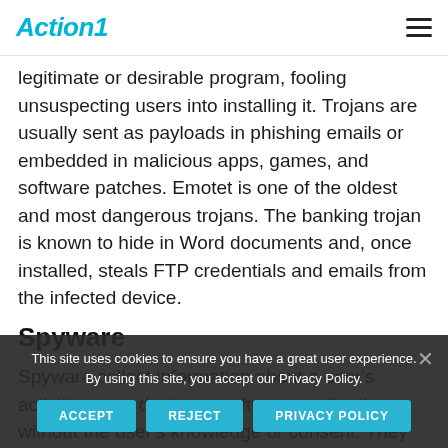Action1
legitimate or desirable program, fooling unsuspecting users into installing it. Trojans are usually sent as payloads in phishing emails or embedded in malicious apps, games, and software patches. Emotet is one of the oldest and most dangerous trojans. The banking trojan is known to hide in Word documents and, once installed, steals FTP credentials and emails from the infected device.
Spyware
Spyware collect information about a user's activities on a device or software application without the user's knowledge or consent. They gather any information of value, including credentials, emails, browsing habits, and personal details. Spyware work
This site uses cookies to ensure you have a great user experience. By using this site, you accept our Privacy Policy.